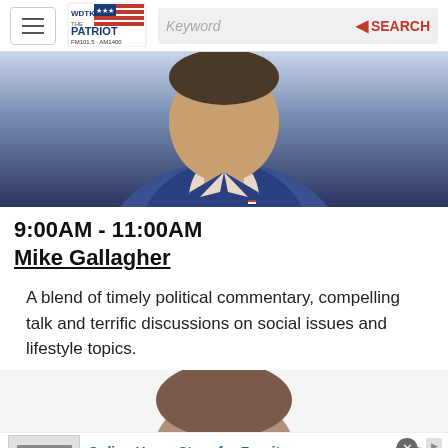WDTK The Patriot FM101.5 AM1400 — Keyword Search navigation bar
[Figure (photo): Close-up photo of a man in a blue suit jacket with a flag pin, partially cropped]
9:00AM - 11:00AM
Mike Gallagher
A blend of timely political commentary, compelling talk and terrific discussions on social issues and lifestyle topics.
[Figure (photo): Top of a man's head with dark hair, cropped at bottom of frame]
[Figure (other): Advertisement: Online Home Store for Furniture — Shop Wayfair for A Zillion Things Home across all styles. www.wayfair.com]